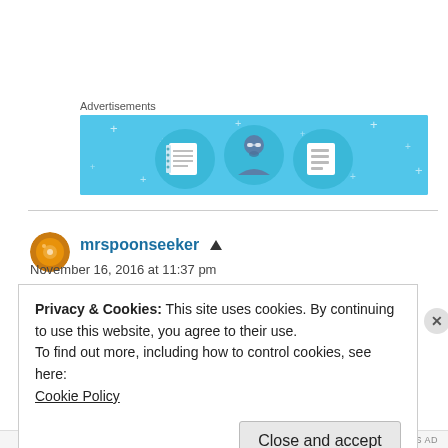Advertisements
[Figure (illustration): Blue advertisement banner with three circular icons: a notebook, a person with glasses, and a document list, on a light blue background with small plus/star decorations.]
mrspoonseeker
November 16, 2016 at 11:37 pm
Privacy & Cookies: This site uses cookies. By continuing to use this website, you agree to their use.
To find out more, including how to control cookies, see here:
Cookie Policy
Close and accept